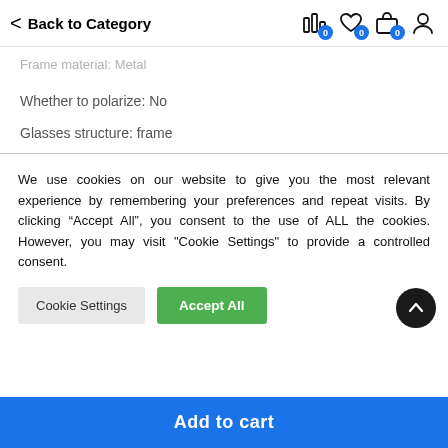< Back to Category
Frame material: Metal
Whether to polarize: No
Glasses structure: frame
We use cookies on our website to give you the most relevant experience by remembering your preferences and repeat visits. By clicking “Accept All”, you consent to the use of ALL the cookies. However, you may visit "Cookie Settings" to provide a controlled consent.
Cookie Settings | Accept All
Add to cart